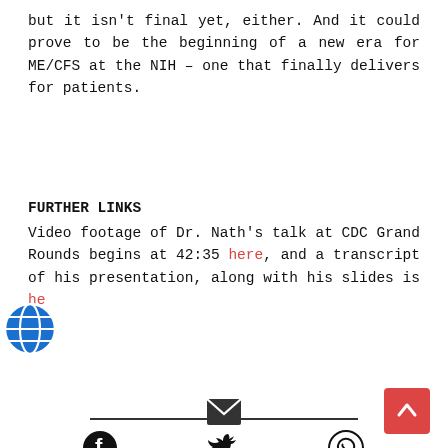but it isn't final yet, either. And it could prove to be the beginning of a new era for ME/CFS at the NIH – one that finally delivers for patients.
FURTHER LINKS
Video footage of Dr. Nath's talk at CDC Grand Rounds begins at 42:35 here, and a transcript of his presentation, along with his slides is here.
[Figure (logo): Blue circular help/share icon]
[Figure (infographic): Horizontal divider line]
[Figure (infographic): Social share icons: Facebook, Twitter, WhatsApp, Email]
[Figure (infographic): Red scroll-to-top button with upward chevron]